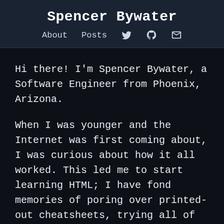Spencer Bywater
About   Posts   [twitter] [github] [email]
Hi there! I'm Spencer Bywater, a Software Engineer from Phoenix, Arizona.
When I was younger and the Internet was first coming about, I was curious about how it all worked. This led me to start learning HTML; I have fond memories of poring over printed-out cheatsheets, trying all of the different tags and figuring out what each of them did. Throughout my teen years, I continued learning CSS, JavaScript, and other web